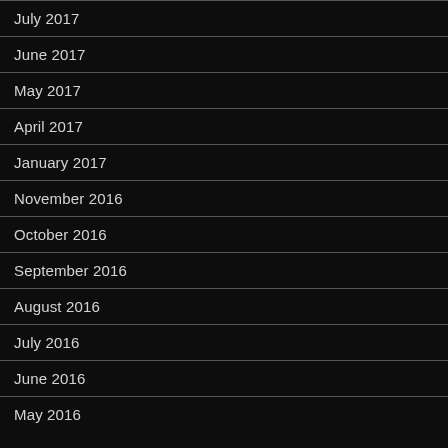July 2017
June 2017
May 2017
April 2017
January 2017
November 2016
October 2016
September 2016
August 2016
July 2016
June 2016
May 2016